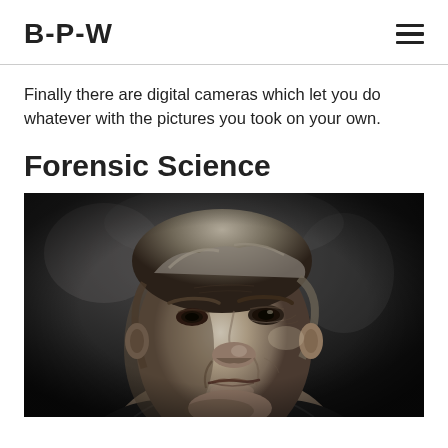B-P-W
Finally there are digital cameras which let you do whatever with the pictures you took on your own.
Forensic Science
[Figure (photo): Black and white close-up portrait photograph of an older man with grey hair, looking slightly upward, with dramatic lighting and strong facial features.]